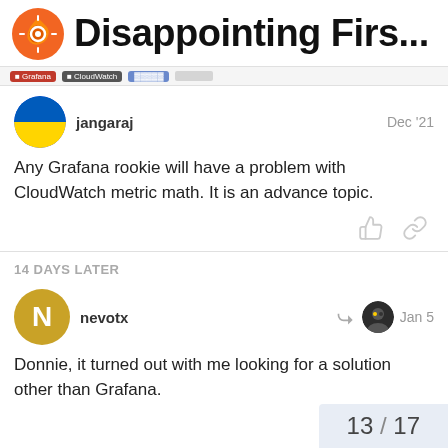Disappointing Firs...
jangaraj  Dec '21
Any Grafana rookie will have a problem with CloudWatch metric math. It is an advance topic.
14 DAYS LATER
nevotx  Jan 5
Donnie, it turned out with me looking for a solution other than Grafana.
13 / 17